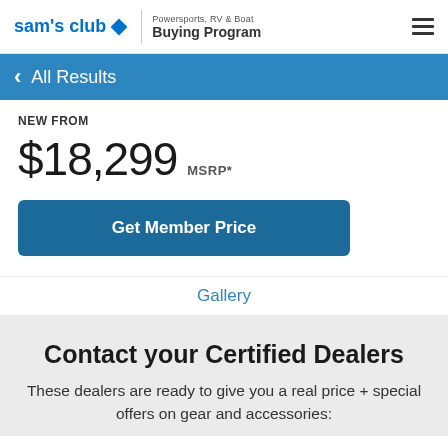sam's club ◇ | Powersports, RV & Boat Buying Program
< All Results
NEW FROM
$18,299 MSRP*
Get Member Price
Gallery
Contact your Certified Dealers
These dealers are ready to give you a real price + special offers on gear and accessories: